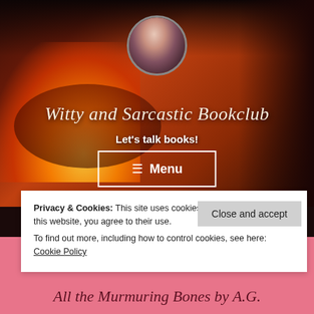[Figure (screenshot): Website header screenshot for 'Witty and Sarcastic Bookclub' blog. Features a dark background with candle and books, circular avatar photo of a woman, site title in italic serif font, tagline 'Let's talk books!', and a Menu button.]
Witty and Sarcastic Bookclub
Let's talk books!
≡ Menu
Privacy & Cookies: This site uses cookies. By continuing to use this website, you agree to their use.
To find out more, including how to control cookies, see here: Cookie Policy
Close and accept
All the Murmuring Bones by A.G.